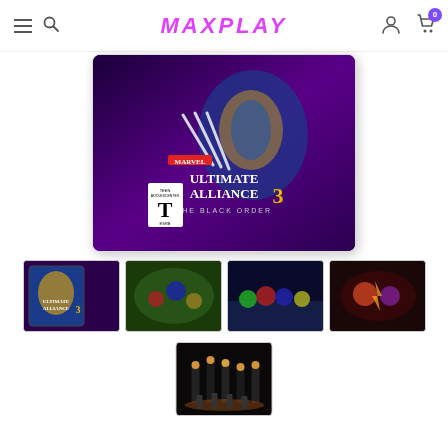MAXPLAY
[Figure (photo): Marvel Ultimate Alliance 3: The Black Order Nintendo Switch game case cover art featuring Wolverine with claws extended, with Marvel characters in background. ESRB Teen rating displayed.]
[Figure (photo): Marvel Ultimate Alliance 3 Nintendo Switch game case thumbnail]
[Figure (photo): Marvel Ultimate Alliance 3 gameplay screenshot showing heroes in battle]
[Figure (photo): Marvel Ultimate Alliance 3 gameplay screenshot showing group of heroes]
[Figure (photo): Marvel Ultimate Alliance 3 gameplay screenshot showing combat scene]
[Figure (photo): Marvel Ultimate Alliance 3 gameplay screenshot showing dark environment with characters]